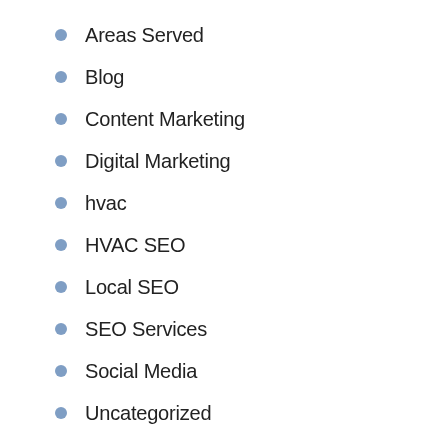Areas Served
Blog
Content Marketing
Digital Marketing
hvac
HVAC SEO
Local SEO
SEO Services
Social Media
Uncategorized